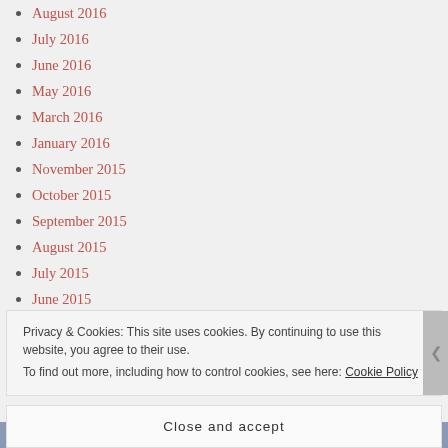August 2016
July 2016
June 2016
May 2016
March 2016
January 2016
November 2015
October 2015
September 2015
August 2015
July 2015
June 2015
Privacy & Cookies: This site uses cookies. By continuing to use this website, you agree to their use. To find out more, including how to control cookies, see here: Cookie Policy
Close and accept